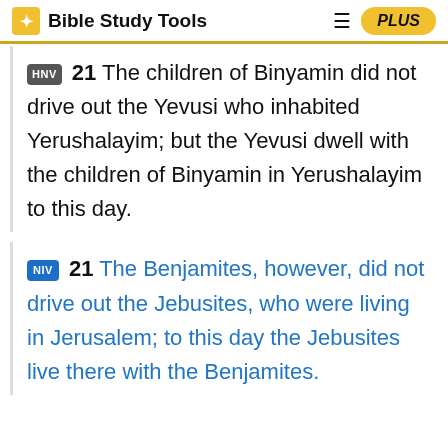Bible Study Tools
HNV 21 The children of Binyamin did not drive out the Yevusi who inhabited Yerushalayim; but the Yevusi dwell with the children of Binyamin in Yerushalayim to this day.
NIV 21 The Benjamites, however, did not drive out the Jebusites, who were living in Jerusalem; to this day the Jebusites live there with the Benjamites.